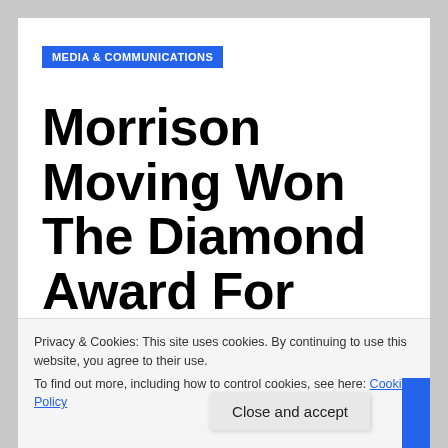MEDIA & COMMUNICATIONS
Morrison Moving Won The Diamond Award For Best Storage In Hamilton From The Hamilton
Privacy & Cookies: This site uses cookies. By continuing to use this website, you agree to their use.
To find out more, including how to control cookies, see here: Cookie Policy